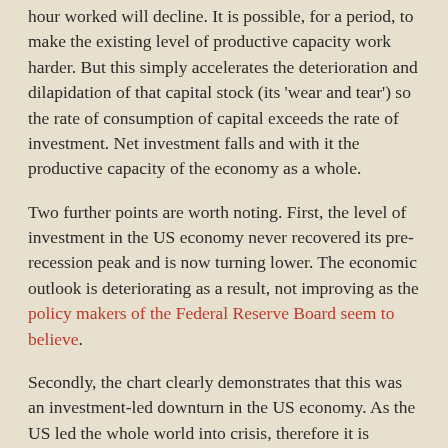hour worked will decline. It is possible, for a period, to make the existing level of productive capacity work harder. But this simply accelerates the deterioration and dilapidation of that capital stock (its 'wear and tear') so the rate of consumption of capital exceeds the rate of investment. Net investment falls and with it the productive capacity of the economy as a whole.
Two further points are worth noting. First, the level of investment in the US economy never recovered its pre-recession peak and is now turning lower. The economic outlook is deteriorating as a result, not improving as the policy makers of the Federal Reserve Board seem to believe.
Secondly, the chart clearly demonstrates that this was an investment-led downturn in the US economy. As the US led the whole world into crisis, therefore it is reasonable to state that the Great Recession was caused by the US investment decline. In the chart above the shaded area represents the period of the recession itself. Evidently investment declined long before the recession began. In fact, it was two years later that recession began, as investment peaked in the 1st